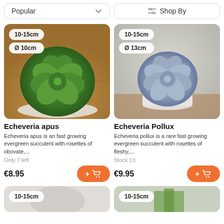Popular
Shop By
[Figure (photo): Echeveria apus succulent plant in white pot on wooden surface, top view. Badges: 10-15cm, Ø 10cm]
Echeveria apus
Echeveria apus is an fast growing evergreen succulent with rosettes of obovate,...
Only 7 left
€8.95
[Figure (photo): Echeveria Pollux succulent plant in white pot on wooden surface. Badges: 10-15cm, Ø 13cm]
Echeveria Pollux
Echeveria pollux is a rare fast growing evergreen succulent with rosettes of fleshy,...
Stock 13
€9.95
[Figure (photo): Partial product card at bottom left with badge 10-15cm]
[Figure (photo): Partial product card at bottom right with badge 10-15cm]